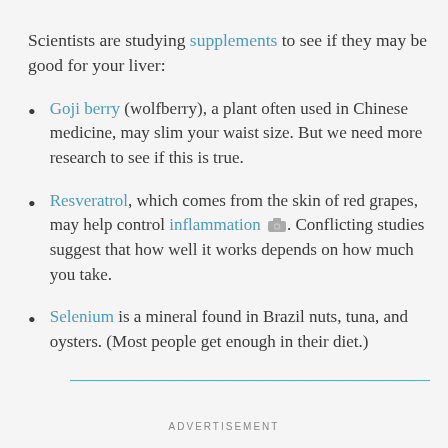Scientists are studying supplements to see if they may be good for your liver:
Goji berry (wolfberry), a plant often used in Chinese medicine, may slim your waist size. But we need more research to see if this is true.
Resveratrol, which comes from the skin of red grapes, may help control inflammation. Conflicting studies suggest that how well it works depends on how much you take.
Selenium is a mineral found in Brazil nuts, tuna, and oysters. (Most people get enough in their diet.)
ADVERTISEMENT